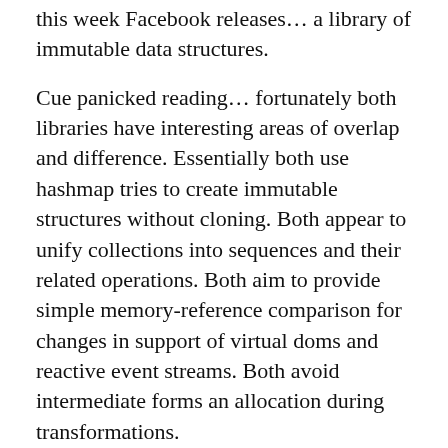this week Facebook releases… a library of immutable data structures.
Cue panicked reading… fortunately both libraries have interesting areas of overlap and difference. Essentially both use hashmap tries to create immutable structures without cloning. Both appear to unify collections into sequences and their related operations. Both aim to provide simple memory-reference comparison for changes in support of virtual doms and reactive event streams. Both avoid intermediate forms an allocation during transformations.
Immutable.js is smaller in scope that Mori though with less operations available on sequences. It has also taken an object-orientated interface approach to expose the functionality on the immutable collection types. This seems to be the major point of difference so far and also seems an odd design choice as it limits its opportunity for composition.